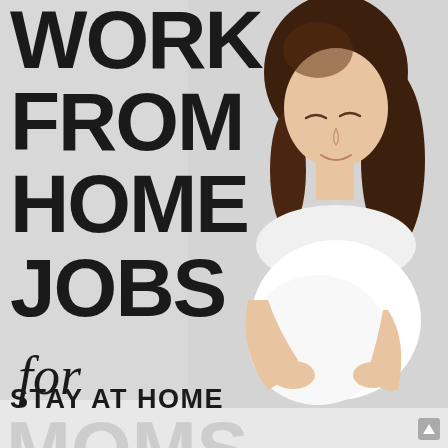[Figure (illustration): Promotional graphic: large bold black text 'WORK FROM HOME JOBS' with italic 'for' in script, then 'STAY AT HOME MOMS' in bold/large text. Background is light gray. Right side shows a photo of a pregnant woman with dark curly hair, wearing a white top, looking down and cradling her belly.]